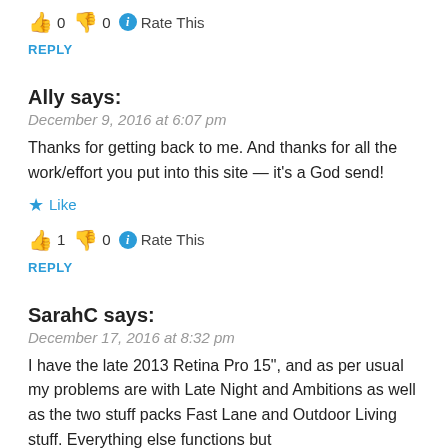👍 0 👎 0 ℹ Rate This
REPLY
Ally says:
December 9, 2016 at 6:07 pm
Thanks for getting back to me. And thanks for all the work/effort you put into this site — it's a God send!
★ Like
👍 1 👎 0 ℹ Rate This
REPLY
SarahC says:
December 17, 2016 at 8:32 pm
I have the late 2013 Retina Pro 15", and as per usual my problems are with Late Night and Ambitions as well as the two stuff packs Fast Lane and Outdoor Living stuff. Everything else functions but